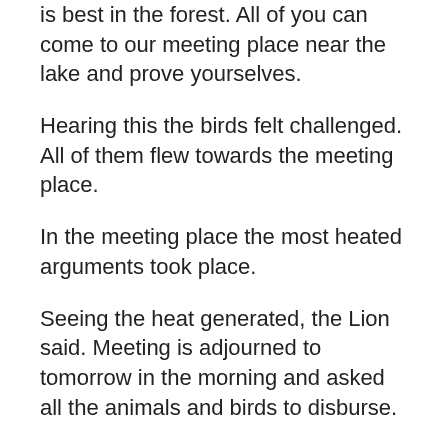is best in the forest. All of you can come to our meeting place near the lake and prove yourselves.
Hearing this the birds felt challenged. All of them flew towards the meeting place.
In the meeting place the most heated arguments took place.
Seeing the heat generated, the Lion said. Meeting is adjourned to tomorrow in the morning and asked all the animals and birds to disburse.
In the evening the grand old man who often visits forest and help animals and birds by treating them came to the meeting place and asked some of the birds still sitting there: I heard a commotion in the afternoon what happened to you all. I heard the loud sounds of animals and